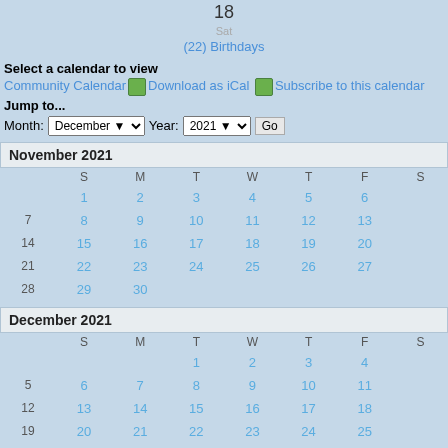18
Sat
(22) Birthdays
Select a calendar to view
Community Calendar  Download as iCal  Subscribe to this calendar
Jump to...
Month: December  Year: 2021  Go
|  | S | M | T | W | T | F | S |
| --- | --- | --- | --- | --- | --- | --- | --- |
|  | 1 | 2 | 3 | 4 | 5 | 6 |  |
| 7 | 8 | 9 | 10 | 11 | 12 | 13 |  |
| 14 | 15 | 16 | 17 | 18 | 19 | 20 |  |
| 21 | 22 | 23 | 24 | 25 | 26 | 27 |  |
| 28 | 29 | 30 |  |  |  |  |  |
|  | S | M | T | W | T | F | S |
| --- | --- | --- | --- | --- | --- | --- | --- |
|  |  |  | 1 | 2 | 3 | 4 |  |
| 5 | 6 | 7 | 8 | 9 | 10 | 11 |  |
| 12 | 13 | 14 | 15 | 16 | 17 | 18 |  |
| 19 | 20 | 21 | 22 | 23 | 24 | 25 |  |
| 26 | 27 | 28 | 29 | 30 | 31 |  |  |